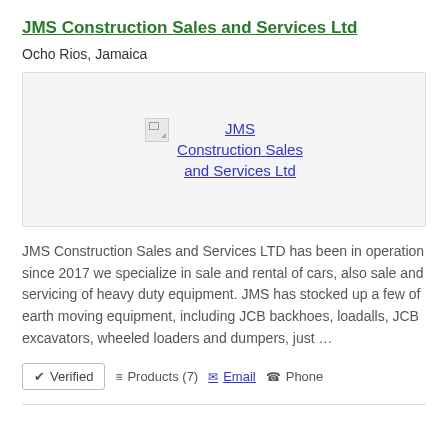JMS Construction Sales and Services Ltd
Ocho Rios, Jamaica
[Figure (logo): JMS Construction Sales and Services Ltd logo placeholder (broken image icon with linked text)]
JMS Construction Sales and Services LTD has been in operation since 2017 we specialize in sale and rental of cars, also sale and servicing of heavy duty equipment. JMS has stocked up a few of earth moving equipment, including JCB backhoes, loadalls, JCB excavators, wheeled loaders and dumpers, just …
✔ Verified   ≡ Products (7)   ✉ Email   ☎ Phone